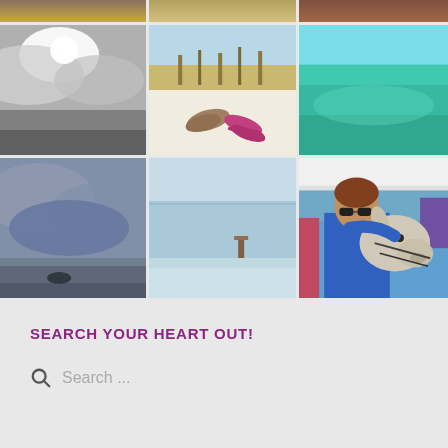[Figure (photo): 3x3 photo grid showing various beach and outdoor scenes: sunset over water with pier/dock, beach grass/dunes, turquoise ocean water, dramatic cloudy sky in black and white, shoes/sandals on white sand beach, open turquoise ocean, stormy sky over water, long exposure ocean shot with distant object, person holding/petting a llama at outdoor event]
SEARCH YOUR HEART OUT!
Search ...